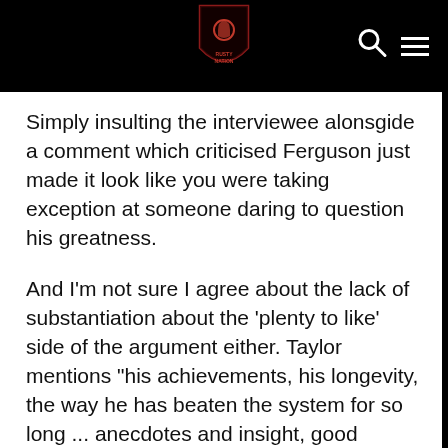[Figure (logo): Website header bar with a red shield logo/crest at center, a search icon (magnifying glass) on the right, and a hamburger menu icon on the far right, all on a black background.]
Simply insulting the interviewee alonsgide a comment which criticised Ferguson just made it look like you were taking exception at someone daring to question his greatness.
And I'm not sure I agree about the lack of substantiation about the 'plenty to like' side of the argument either. Taylor mentions "his achievements, his longevity, the way he has beaten the system for so long ... anecdotes and insight, good company ... he can be utterly charming."
I mean, how much more do you want? As Taylor points out, Fergie keeps journalists at arm's length, so there's only so much insight